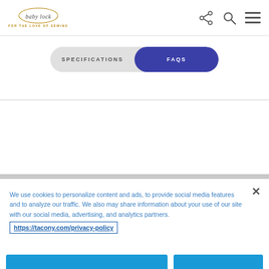baby lock - FOR THE LOVE OF SEWING
SPECIFICATIONS | FAQS
We use cookies to personalize content and ads, to provide social media features and to analyze our traffic. We also may share information about your use of our site with our social media, advertising, and analytics partners.
https://tacony.com/privacy-policy